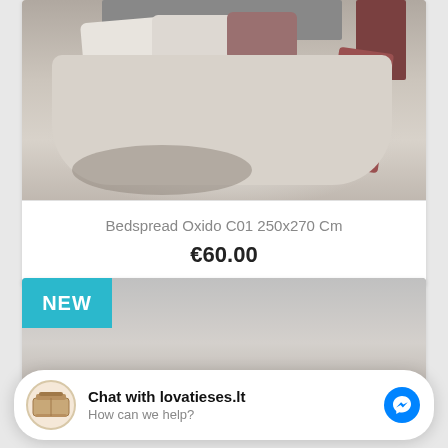[Figure (photo): Product photo of a bedspread on a bed with white/beige tones and burgundy accent runner]
Bedspread Oxido C01 250x270 Cm
€60.00
[Figure (photo): Second product photo with a NEW badge in teal, showing bedspread in grey/blue tones]
Chat with lovatieses.lt
How can we help?